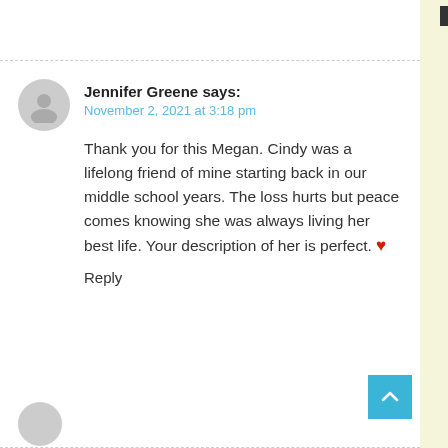Jennifer Greene says:
November 2, 2021 at 3:18 pm
Thank you for this Megan. Cindy was a lifelong friend of mine starting back in our middle school years. The loss hurts but peace comes knowing she was always living her best life. Your description of her is perfect. ❤
Reply